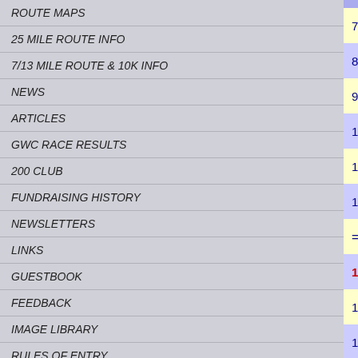ROUTE MAPS
25 MILE ROUTE INFO
7/13 MILE ROUTE & 10K INFO
NEWS
ARTICLES
GWC RACE RESULTS
200 CLUB
FUNDRAISING HISTORY
NEWSLETTERS
LINKS
GUESTBOOK
FEEDBACK
IMAGE LIBRARY
RULES OF ENTRY
| # | Name | Club |
| --- | --- | --- |
| 7 | Philip Cowie | Metro Aberdee |
| 8 | Geoff Simpson | Metro Aberdee |
| 9 | Dave Wilson | Aberdeen |
| 10 | Ross Munro | Stornoway RC |
| 11 | Colin Gilmour | Central Region |
| 12 | Charles Thomson | Inverness |
| = | Peter Wilkes | Inverness |
| 14 | Frances Thin | Minolta Black |
| 15 | Ewan Lardner | Perth Road Ru |
| 16 | Callum Scott | NCSAC |
| 17 | Chris Allan | Stornoway RC |